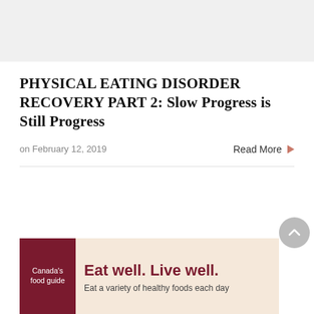[Figure (other): Gray banner/advertisement placeholder at the top of the page]
PHYSICAL EATING DISORDER RECOVERY PART 2: Slow Progress is Still Progress
on February 12, 2019
Read More
[Figure (other): Scroll-to-top circular button with upward chevron arrow, gray background]
[Figure (other): Canada's Food Guide advertisement banner. Left dark red panel with white text 'Canada's food guide'. Right cream/peach panel with bold dark red text 'Eat well. Live well.' and smaller text 'Eat a variety of healthy foods each day']